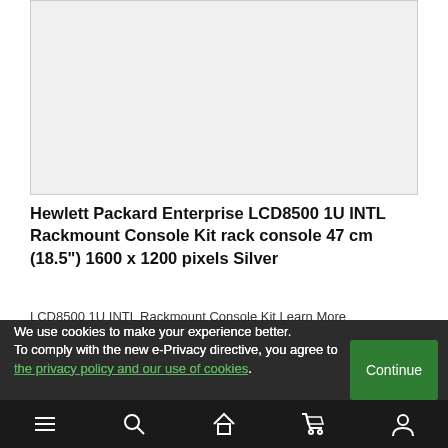[Figure (photo): Product image placeholder area — light gray rectangle representing a product photo of the LCD8500 console kit]
Hewlett Packard Enterprise LCD8500 1U INTL Rackmount Console Kit rack console 47 cm (18.5") 1600 x 1200 pixels Silver
LCD8500 1U INTL Rackmount Console Kit Learn More
We use cookies to make your experience better.
To comply with the new e-Privacy directive, you agree to the privacy policy and our use of cookies.
Continue